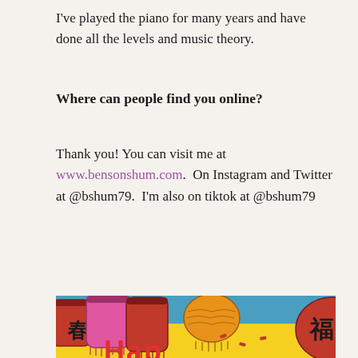I've played the piano for many years and have done all the levels and music theory.
Where can people find you online?
Thank you! You can visit me at www.bensonshum.com.  On Instagram and Twitter at @bshum79.  I'm also on tiktok at @bshum79
[Figure (illustration): Colorful Chinese New Year lanterns illustration with red, pink, orange lanterns hanging against a yellow and blue background with Chinese characters. Bottom shows partial red text likely reading 'Happy' or similar.]